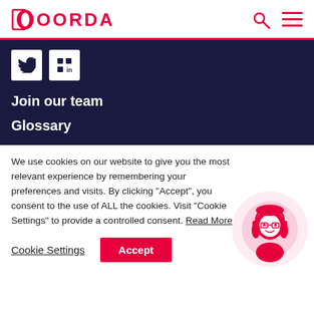DOORDA
[Figure (illustration): Social media icons: Twitter and LinkedIn buttons on dark background]
Join our team
Glossary
We use cookies on our website to give you the most relevant experience by remembering your preferences and visits. By clicking “Accept”, you consent to the use of ALL the cookies. Visit "Cookie Settings" to provide a controlled consent. Read More
Cookie Settings  Accept